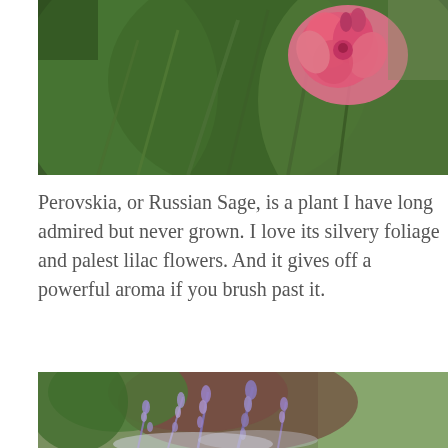[Figure (photo): Close-up photograph of pink oleander flowers with green leaves against a blurred background]
Perovskia, or Russian Sage, is a plant I have long admired but never grown.  I love its silvery foliage and palest lilac flowers.  And it gives off a powerful aroma if you brush past it.
[Figure (photo): Close-up photograph of pale purple Russian Sage (Perovskia) flowers with green foliage and blurred background of red brickwork and green plants]